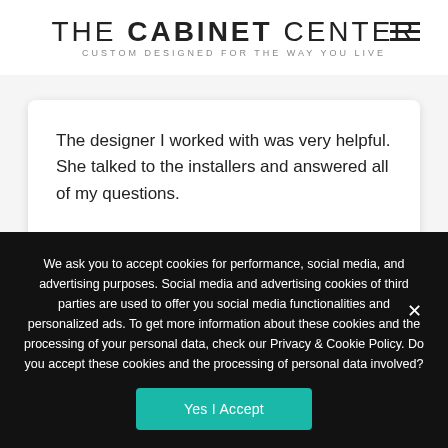THE CABINET CENTER | CUSTOM DESIGNED FOR THE WAY YOU LIVE
The designer I worked with was very helpful. She talked to the installers and answered all of my questions.
We ask you to accept cookies for performance, social media, and advertising purposes. Social media and advertising cookies of third parties are used to offer you social media functionalities and personalized ads. To get more information about these cookies and the processing of your personal data, check our Privacy & Cookie Policy. Do you accept these cookies and the processing of personal data involved?
Yes I Accept